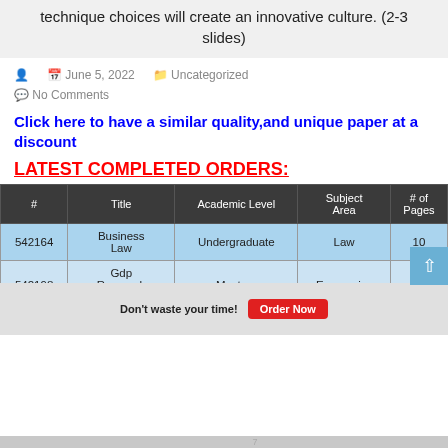technique choices will create an innovative culture. (2-3 slides)
June 5, 2022   Uncategorized
No Comments
Click here to have a similar quality, and unique paper at a discount
LATEST COMPLETED ORDERS:
| # | Title | Academic Level | Subject Area | # of Pages |
| --- | --- | --- | --- | --- |
| 542164 | Business Law | Undergraduate | Law | 10 |
| 542198 | Gdp Research Paper | Masters | Economics | 15 |
| 542177 | Renaissance | Masters | Art | 7 |